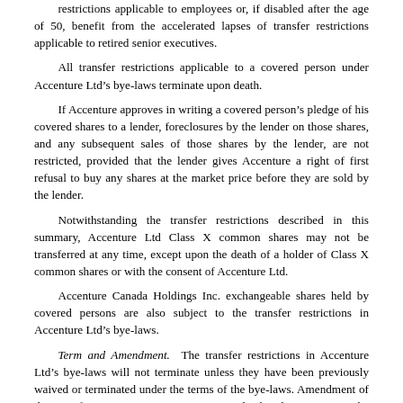restrictions applicable to employees or, if disabled after the age of 50, benefit from the accelerated lapses of transfer restrictions applicable to retired senior executives.
All transfer restrictions applicable to a covered person under Accenture Ltd’s bye-laws terminate upon death.
If Accenture approves in writing a covered person’s pledge of his covered shares to a lender, foreclosures by the lender on those shares, and any subsequent sales of those shares by the lender, are not restricted, provided that the lender gives Accenture a right of first refusal to buy any shares at the market price before they are sold by the lender.
Notwithstanding the transfer restrictions described in this summary, Accenture Ltd Class X common shares may not be transferred at any time, except upon the death of a holder of Class X common shares or with the consent of Accenture Ltd.
Accenture Canada Holdings Inc. exchangeable shares held by covered persons are also subject to the transfer restrictions in Accenture Ltd’s bye-laws.
Term and Amendment. The transfer restrictions in Accenture Ltd’s bye-laws will not terminate unless they have been previously waived or terminated under the terms of the bye-laws. Amendment of the transfer restrictions in Accenture Ltd’s bye-laws requires the approval of the Board of Directors of Accenture Ltd and a majority vote of Accenture Ltd’s